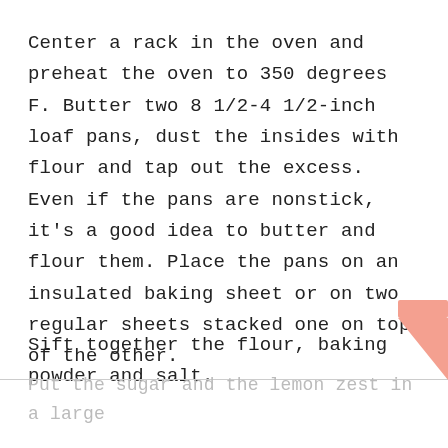Center a rack in the oven and preheat the oven to 350 degrees F. Butter two 8 1/2-4 1/2-inch loaf pans, dust the insides with flour and tap out the excess. Even if the pans are nonstick, it's a good idea to butter and flour them. Place the pans on an insulated baking sheet or on two regular sheets stacked one on top of the other.
Sift together the flour, baking powder and salt.
Put the sugar and the lemon zest in a large